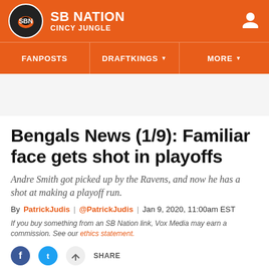SB NATION / CINCY JUNGLE
Bengals News (1/9): Familiar face gets shot in playoffs
Andre Smith got picked up by the Ravens, and now he has a shot at making a playoff run.
By PatrickJudis | @PatrickJudis | Jan 9, 2020, 11:00am EST
If you buy something from an SB Nation link, Vox Media may earn a commission. See our ethics statement.